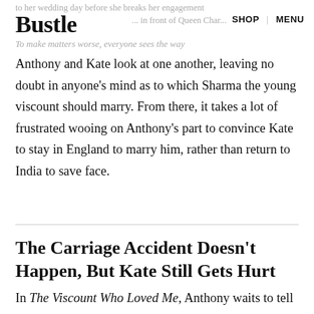to her wedding day before she breaks her engagement
Bustle
SHOP   MENU
... in front of Queen Char...
To make matters worse, everyone sees the way
Anthony and Kate look at one another, leaving no doubt in anyone’s mind as to which Sharma the young viscount should marry. From there, it takes a lot of frustrated wooing on Anthony’s part to convince Kate to stay in England to marry him, rather than return to India to save face.
The Carriage Accident Doesn’t Happen, But Kate Still Gets Hurt
In The Viscount Who Loved Me, Anthony waits to tell